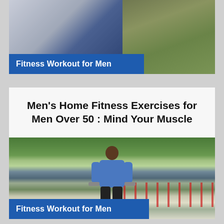[Figure (photo): Man in blue shirt exercising outdoors, cropped to show upper body against grass/gravel background]
Fitness Workout for Men
Men's Home Fitness Exercises for Men Over 50 : Mind Your Muscle
[Figure (photo): Man in blue polo shirt walking/exercising outdoors holding dumbbells, with a lake and trees in background and a red fence to the right]
Fitness Workout for Men